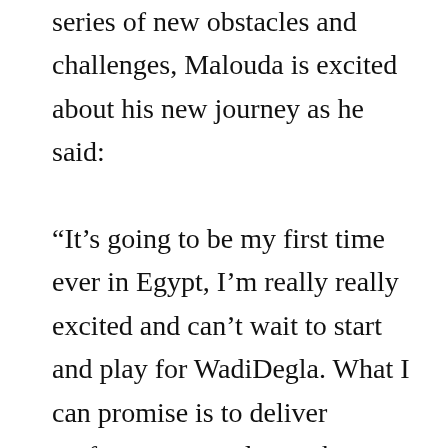series of new obstacles and challenges, Malouda is excited about his new journey as he said: “It’s going to be my first time ever in Egypt, I’m really really excited and can’t wait to start and play for WadiDegla. What I can promise is to deliver performances and to make sure that the team will now reach higher ranks in the table, that’s the ambition of the club. The club is young, and we will try to compete with the best teams in Egypt.” This was the